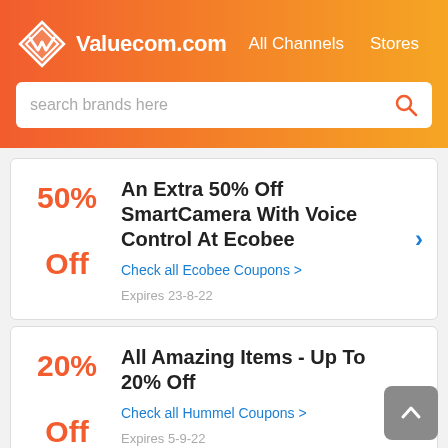Valuecom.com   All Channels   Stores
search brands here
50% Off — An Extra 50% Off SmartCamera With Voice Control At Ecobee — Check all Ecobee Coupons > — Expires 23-8-22
20% Off — All Amazing Items - Up To 20% Off — Check all Hummel Coupons > — Expires 5-9-22